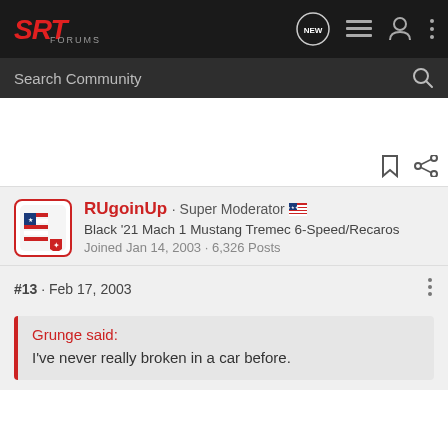SRT Forums
Search Community
RUgoinUp · Super Moderator
Black '21 Mach 1 Mustang Tremec 6-Speed/Recaros
Joined Jan 14, 2003 · 6,326 Posts
#13 · Feb 17, 2003
Grunge said:
I've never really broken in a car before.